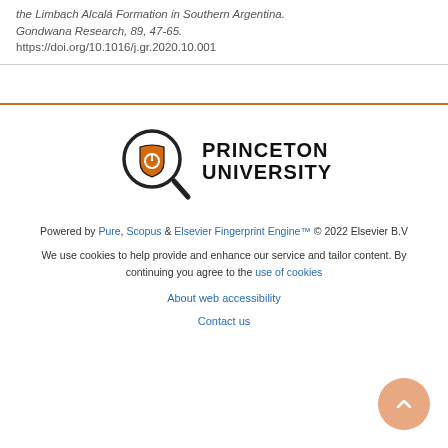the Limbach Alcalá Formation in Southern Argentina. Gondwana Research, 89, 47-65. https://doi.org/10.1016/j.gr.2020.10.001
[Figure (logo): Princeton University logo with magnifying glass containing an orange shield with Innovation text and power button symbol, next to bold text PRINCETON UNIVERSITY]
Powered by Pure, Scopus & Elsevier Fingerprint Engine™ © 2022 Elsevier B.V
We use cookies to help provide and enhance our service and tailor content. By continuing you agree to the use of cookies
About web accessibility
Contact us